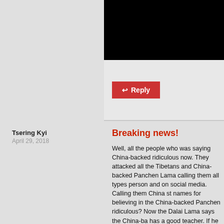[Figure (other): Black banner/image area at the top of the page]
Reply
Tsering Kyi
April 29, 2018
Breaking news!
Well, all the people who was saying China-backed ridiculous now. They attacked all the Tibetans and China-backed Panchen Lama calling them all types person and on social media. Calling them China st names for believing in the China-backed Panchen ridiculous? Now the Dalai Lama says the China-ba has a good teacher. If he has a good teacher it mea teacher himself. So he is qualified to teach. The en
Dalai Lama says the China-backed Panchen Lama Panchen Lama because high lamas can incarnate b time. So the Panchen Lama recognized by the Dala Panchen Lama are both good and both are incarna Lama. How the tables have turned. Now all the peo Panchen Lama can keep quiet and remember ho